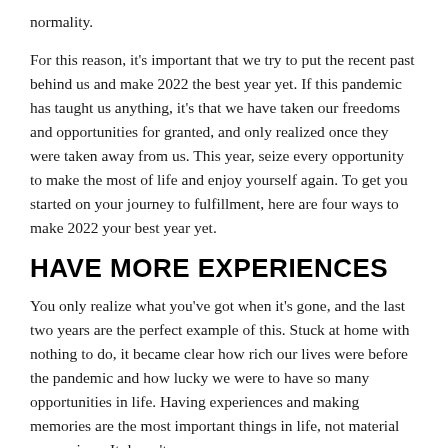normality.
For this reason, it's important that we try to put the recent past behind us and make 2022 the best year yet. If this pandemic has taught us anything, it's that we have taken our freedoms and opportunities for granted, and only realized once they were taken away from us. This year, seize every opportunity to make the most of life and enjoy yourself again. To get you started on your journey to fulfillment, here are four ways to make 2022 your best year yet.
HAVE MORE EXPERIENCES
You only realize what you've got when it's gone, and the last two years are the perfect example of this. Stuck at home with nothing to do, it became clear how rich our lives were before the pandemic and how lucky we were to have so many opportunities in life. Having experiences and making memories are the most important things in life, not material possessions. It doesn't